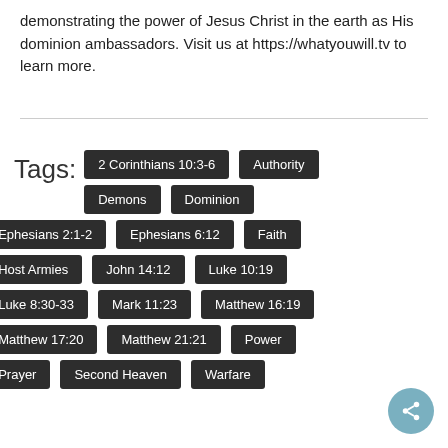demonstrating the power of Jesus Christ in the earth as His dominion ambassadors. Visit us at https://whatyouwill.tv to learn more.
Tags: 2 Corinthians 10:3-6 | Authority | Demons | Dominion | Ephesians 2:1-2 | Ephesians 6:12 | Faith | Host Armies | John 14:12 | Luke 10:19 | Luke 8:30-33 | Mark 11:23 | Matthew 16:19 | Matthew 17:20 | Matthew 21:21 | Power | Prayer | Second Heaven | Warfare